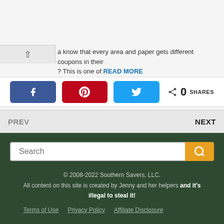a know that every area and paper gets different coupons in their ? This is one of READ MORE
[Figure (screenshot): Social share buttons: Facebook (blue), Pinterest (red), Twitter (light blue), and a share count showing 0 SHARES]
PREV   NEXT
© 2008-2022 Southern Savers, LLC. All content on this site is created by Jenny and her helpers and it's illegal to steal it! Terms of Use  Privacy Policy  Affiliate Disclosure